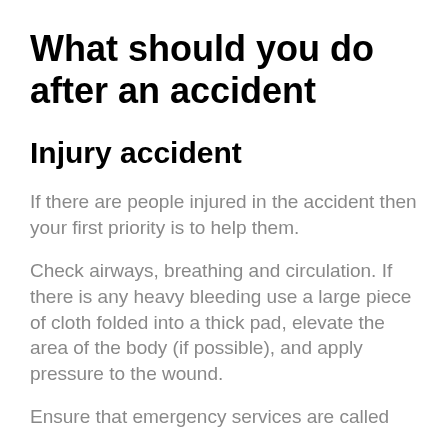What should you do after an accident
Injury accident
If there are people injured in the accident then your first priority is to help them.
Check airways, breathing and circulation. If there is any heavy bleeding use a large piece of cloth folded into a thick pad, elevate the area of the body (if possible), and apply pressure to the wound.
Ensure that emergency services are called